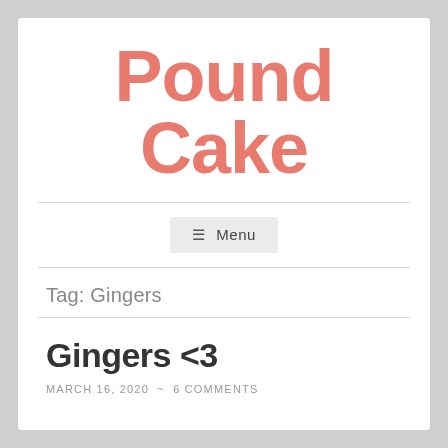Pound Cake
≡ Menu
Tag: Gingers
Gingers <3
MARCH 16, 2020 ~ 6 COMMENTS